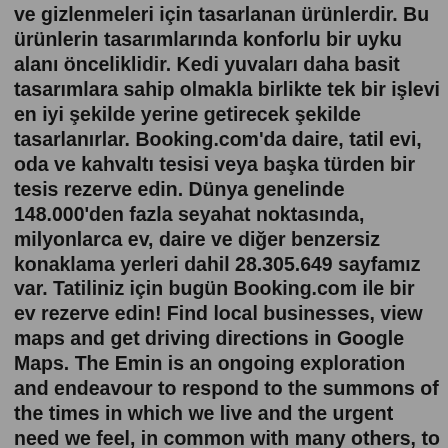ve gizlenmeleri için tasarlanan ürünlerdir. Bu ürünlerin tasarımlarında konforlu bir uyku alanı önceliklidir. Kedi yuvaları daha basit tasarımlara sahip olmakla birlikte tek bir işlevi en iyi şekilde yerine getirecek şekilde tasarlanırlar. Booking.com'da daire, tatil evi, oda ve kahvaltı tesisi veya başka türden bir tesis rezerve edin. Dünya genelinde 148.000'den fazla seyahat noktasında, milyonlarca ev, daire ve diğer benzersiz konaklama yerleri dahil 28.305.649 sayfamız var. Tatiliniz için bugün Booking.com ile bir ev rezerve edin! Find local businesses, view maps and get driving directions in Google Maps. The Emin is an ongoing exploration and endeavour to respond to the summons of the times in which we live and the urgent need we feel, in common with many others, to reclaim our lives to their natural purpose. The Emin has been pioneered and maintained as an open and unfinished philosophy of life and living for over 48 years. The Emin gives rise ... Booking.com'da daire, tatil evi, oda ve kahvaltı